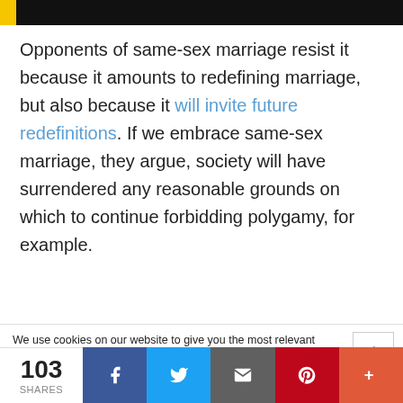[Figure (photo): Dark image bar at top of page with yellow accent on left]
Opponents of same-sex marriage resist it because it amounts to redefining marriage, but also because it will invite future redefinitions. If we embrace same-sex marriage, they argue, society will have surrendered any reasonable grounds on which to continue forbidding polygamy, for example.
We use cookies on our website to give you the most relevant experience by remembering your preferences and repeat visits. By clicking "Accept All", you consent to the use of ALL the cookies. However, you may visit "Cookie Settings" to provide a controlled consent.
103 SHARES | Facebook | Twitter | Email | Pinterest | More